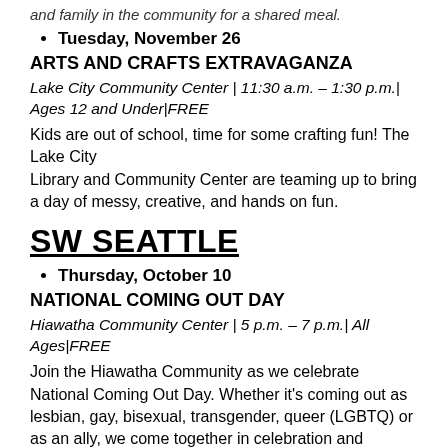and family in the community for a shared meal.
Tuesday, November 26
ARTS AND CRAFTS EXTRAVAGANZA
Lake City Community Center | 11:30 a.m. – 1:30 p.m.| Ages 12 and Under|FREE
Kids are out of school, time for some crafting fun! The Lake City Library and Community Center are teaming up to bring a day of messy, creative, and hands on fun.
SW SEATTLE
Thursday, October 10
NATIONAL COMING OUT DAY
Hiawatha Community Center | 5 p.m. – 7 p.m.| All Ages|FREE
Join the Hiawatha Community as we celebrate National Coming Out Day. Whether it's coming out as lesbian, gay, bisexual, transgender, queer (LGBTQ) or as an ally, we come together in celebration and advocacy of equality and